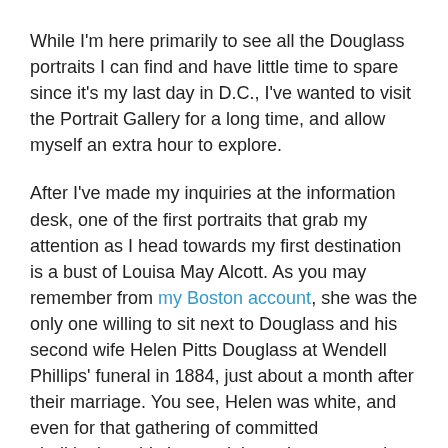While I'm here primarily to see all the Douglass portraits I can find and have little time to spare since it's my last day in D.C., I've wanted to visit the Portrait Gallery for a long time, and allow myself an extra hour to explore.
After I've made my inquiries at the information desk, one of the first portraits that grab my attention as I head towards my first destination is a bust of Louisa May Alcott. As you may remember from my Boston account, she was the only one willing to sit next to Douglass and his second wife Helen Pitts Douglass at Wendell Phillips' funeral in 1884, just about a month after their marriage. You see, Helen was white, and even for that gathering of committed abolitionists, this interracial marriage was going more than a bit farther than their still rudimentary sense of human equality would allow.